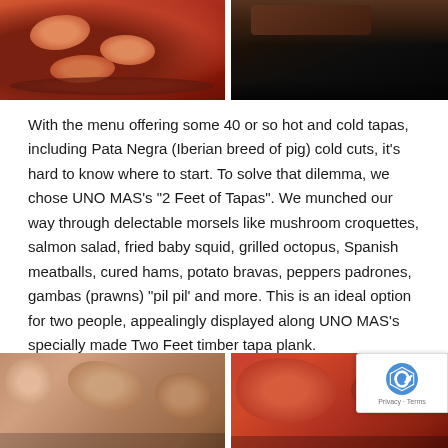[Figure (photo): Food photo showing a dish of shrimp/gambas in red sauce in a clay bowl on the left, and a dark close-up image on the right]
With the menu offering some 40 or so hot and cold tapas, including Pata Negra (Iberian breed of pig) cold cuts, it’s hard to know where to start. To solve that dilemma, we chose UNO MAS’s “2 Feet of Tapas”. We munched our way through delectable morsels like mushroom croquettes, salmon salad, fried baby squid, grilled octopus, Spanish meatballs, cured hams, potato bravas, peppers padrones, gambas (prawns) “pil pil’ and more. This is an ideal option for two people, appealingly displayed along UNO MAS’s specially made Two Feet timber tapa plank.
[Figure (photo): Two food photos side by side: left showing plates of tapas dishes, right showing a pan of seafood dish, with reCAPTCHA badge overlay]